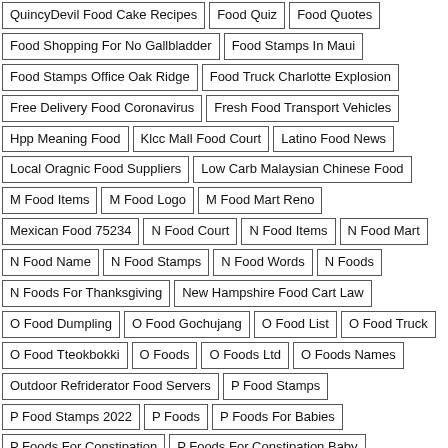QuincyDevil Food Cake Recipes
Food Quiz
Food Quotes
Food Shopping For No Gallbladder
Food Stamps In Maui
Food Stamps Office Oak Ridge
Food Truck Charlotte Explosion
Free Delivery Food Coronavirus
Fresh Food Transport Vehicles
Hpp Meaning Food
Klcc Mall Food Court
Latino Food News
Local Oragnic Food Suppliers
Low Carb Malaysian Chinese Food
M Food Items
M Food Logo
M Food Mart Reno
Mexican Food 75234
N Food Court
N Food Items
N Food Mart
N Food Name
N Food Stamps
N Food Words
N Foods
N Foods For Thanksgiving
New Hampshire Food Cart Law
O Food Dumpling
O Food Gochujang
O Food List
O Food Truck
O Food Tteokbokki
O Foods
O Foods Ltd
O Foods Names
Outdoor Refriderator Food Servers
P Food Stamps
P Food Stamps 2022
P Foods
P Foods For Babies
P Foods For Constipation
P Foods For Constipation Baby
P Foods Names
P Foods To Help Constipation
Pokemon Go Themed Food
Portland Food Editor Karen Brooks
Rotten Tomatoes Small Food
Sacramento Food Tours Groupon
Sawdust City Food
Scotch Bonnet Food Item
So Ono Food Products Shankar
Superbowl Food Anthony Bourdain
Thai Food Lake Grove
Thisisinsider Food Logo
Food To Buy Coronavirus
What'S A Bitter Food Example
Where Do Chefs Get Food
Whole Food Selves Empty
Why Thailand Have Fresh Food
Wwln Food Truck Festival